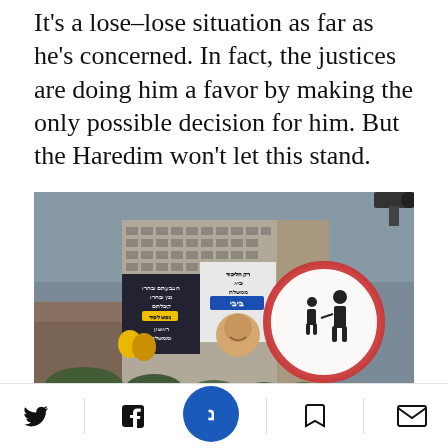It's a lose-lose situation as far as he's concerned. In fact, the justices are doing him a favor by making the only possible decision for him. But the Haredim won't let this stand.
[Figure (photo): Photograph of a tall residential building covered with large Hebrew election campaign banners/posters. In the foreground to the right is a blurred circular road sign (red and white) showing an adult and child pedestrian silhouette. The sky is overcast. Trees visible at the base of the building.]
Social share bar with Twitter, Facebook, Haaretz (N logo), bookmark, and email icons